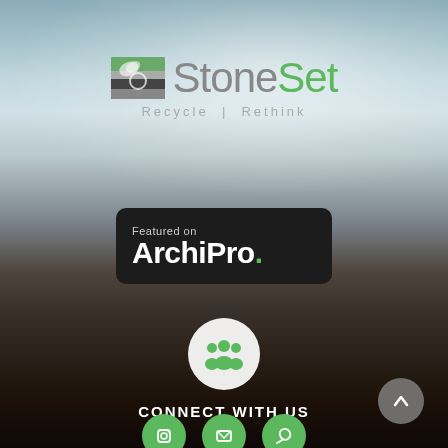[Figure (logo): StoneSet logo with icon showing layered ground/stone cross-section with leaf, text 'StoneSet' in grey and green, tagline 'Recycle | Rethink']
[Figure (logo): Featured on ArchiPro badge - dark rounded rectangle with 'Featured on' text and 'ArchiPro.' in white with green dot]
[Figure (illustration): White circle with green group/people icon inside]
CONNECT WITH US
[Figure (illustration): Grey circle scroll-to-top button with upward arrow icon]
[Figure (illustration): Row of social media icon circles partially visible at bottom]